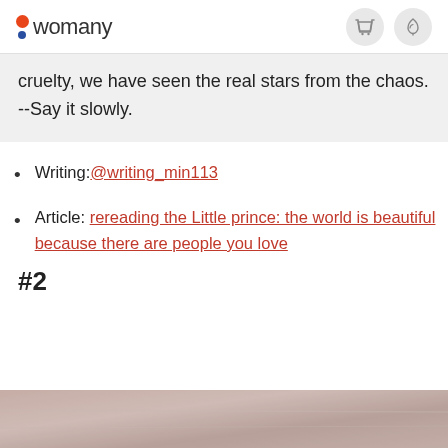womany
cruelty, we have seen the real stars from the chaos.
--Say it slowly.
Writing: @writing_min113
Article: rereading the Little prince: the world is beautiful because there are people you love
#2
[Figure (photo): Bottom portion of page showing a blurred pinkish-beige textured background photo]